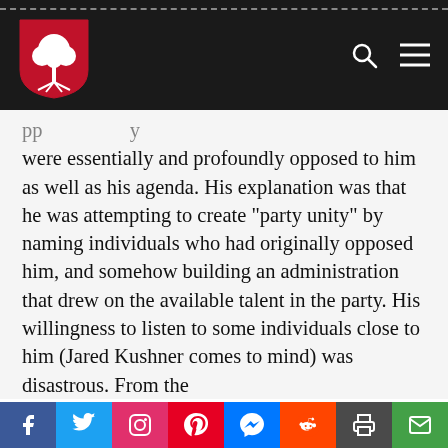[Figure (logo): Red shield logo with white tree on dark navigation bar]
were essentially and profoundly opposed to him as well as his agenda. His explanation was that he was attempting to create “party unity” by naming individuals who had originally opposed him, and somehow building an administration that drew on the available talent in the party. His willingness to listen to some individuals close to him (Jared Kushner comes to mind) was disastrous. From the
[Figure (infographic): Social media share bar with Facebook, Twitter, Instagram, Pinterest, Messenger, Reddit, Print, and Email buttons]